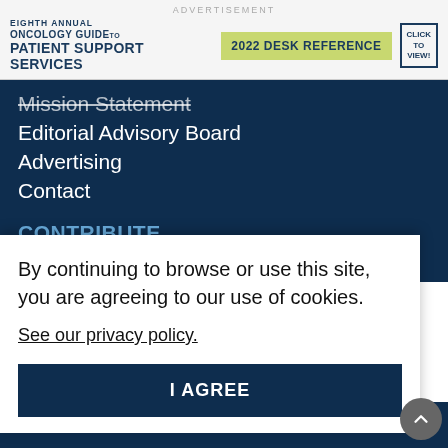[Figure (illustration): Advertisement banner for Eighth Annual Oncology Guide to Patient Support Services 2022 Desk Reference with click to view button]
Mission Statement
Editorial Advisory Board
Advertising
Contact
CONTRIBUTE
Submit a Manuscript
By continuing to browse or use this site, you are agreeing to our use of cookies.
See our privacy policy.
I AGREE